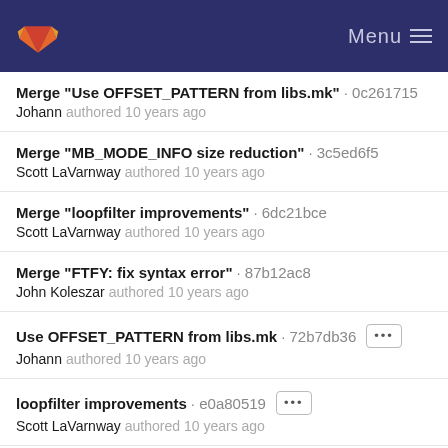GitLab · Menu
Merge "Use OFFSET_PATTERN from libs.mk" · 0c261715
Johann authored 10 years ago
Merge "MB_MODE_INFO size reduction" · 3c5ed6f5
Scott LaVarnway authored 10 years ago
Merge "loopfilter improvements" · 6dc21bce
Scott LaVarnway authored 10 years ago
Merge "FTFY: fix syntax error" · 87b12ac8
John Koleszar authored 10 years ago
Use OFFSET_PATTERN from libs.mk · 72b7db36 [...]
Johann authored 10 years ago
loopfilter improvements · e0a80519 [...]
Scott LaVarnway authored 10 years ago
FTFY: fix syntax error · 46da1cae [...]